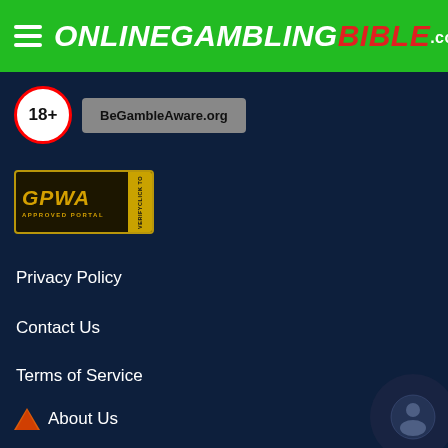ONLINEGAMBLINGBIBLE.com
[Figure (logo): 18+ age restriction badge (red circle) and BeGambleAware.org button]
[Figure (logo): GPWA Approved Portal badge with gold border and click to verify tab]
Privacy Policy
Contact Us
Terms of Service
About Us